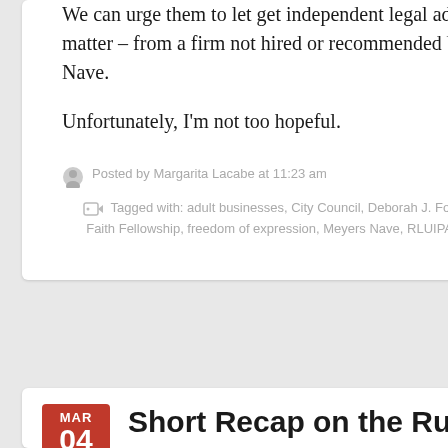We can urge them to let get independent legal advise on this matter – from a firm not hired or recommended by Meyers Nave.
Unfortunately, I'm not too hopeful.
Posted by Margarita Lacabe at 11:23 am
Tagged with: adult businesses, City Council, Deborah J. Fox, entertainment, Faith Fellowship, freedom of expression, Meyers Nave, RLUIPA, Zoning, Zoning code
Short Recap on the Rules